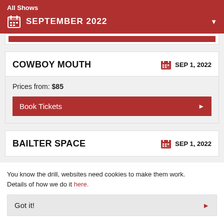All Shows
SEPTEMBER 2022
COWBOY MOUTH
SEP 1, 2022
Prices from: $85
Book Tickets
BAILTER SPACE
SEP 1, 2022
You know the drill, websites need cookies to make them work. Details of how we do it here.
Got it!